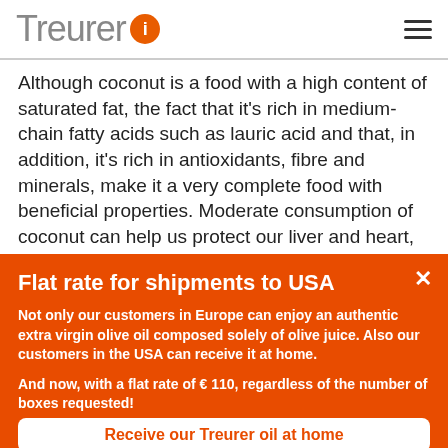Treurer
Although coconut is a food with a high content of saturated fat, the fact that it's rich in medium-chain fatty acids such as lauric acid and that, in addition, it's rich in antioxidants, fibre and minerals, make it a very complete food with beneficial properties. Moderate consumption of coconut can help us protect our liver and heart, stimulate our immune system and as a bactericide, etc.
Flat rate for shipments to USA
Not only our customers in Europe can enjoy an authentic extra virgin olive oil composed solely of olive juice. Also our customers in the USA can receive it at home.
And now, with a flat rate of € 110, regardless of the number of boxes requested!
Receive our Treurer oil at home